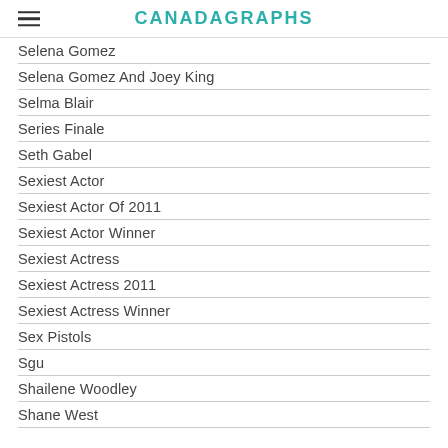CANADAGRAPHS
Selena Gomez
Selena Gomez And Joey King
Selma Blair
Series Finale
Seth Gabel
Sexiest Actor
Sexiest Actor Of 2011
Sexiest Actor Winner
Sexiest Actress
Sexiest Actress 2011
Sexiest Actress Winner
Sex Pistols
Sgu
Shailene Woodley
Shane West